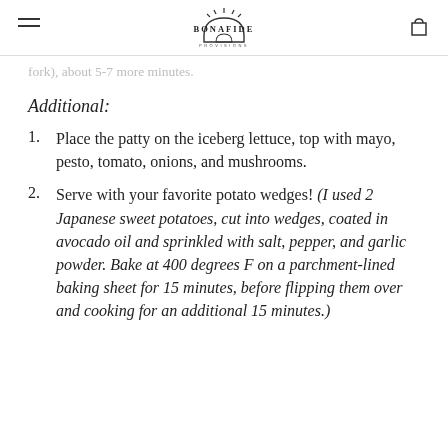BONAFIDE PROVISIONS
fork), about 5-7 more minutes.
Additional:
Place the patty on the iceberg lettuce, top with mayo, pesto, tomato, onions, and mushrooms.
Serve with your favorite potato wedges! (I used 2 Japanese sweet potatoes, cut into wedges, coated in avocado oil and sprinkled with salt, pepper, and garlic powder. Bake at 400 degrees F on a parchment-lined baking sheet for 15 minutes, before flipping them over and cooking for an additional 15 minutes.)